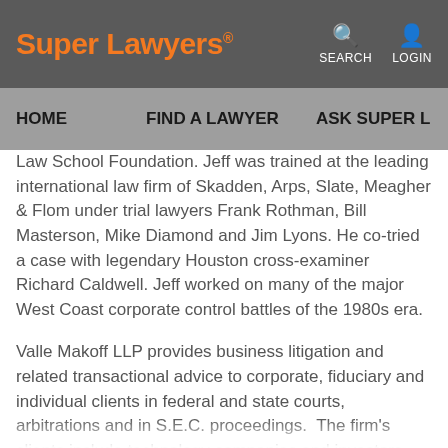Super Lawyers  SEARCH  LOGIN
HOME  FIND A LAWYER  ASK SUPER L
Law School Foundation. Jeff was trained at the leading international law firm of Skadden, Arps, Slate, Meagher & Flom under trial lawyers Frank Rothman, Bill Masterson, Mike Diamond and Jim Lyons. He co-tried a case with legendary Houston cross-examiner Richard Caldwell. Jeff worked on many of the major West Coast corporate control battles of the 1980s era.
Valle Makoff LLP provides business litigation and related transactional advice to corporate, fiduciary and individual clients in federal and state courts, arbitrations and in S.E.C. proceedings. The firm's clients include technology companies and investors, domestic and international private equity firms, media companies,